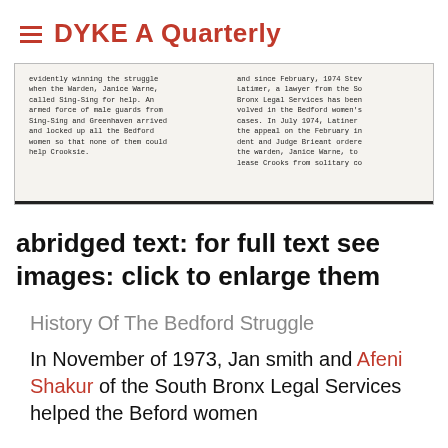DYKE A Quarterly
[Figure (screenshot): Scanned typewritten text in two columns. Left column: 'evidently winning the struggle when the Warden, Janice Warne, called Sing-Sing for help. An armed force of male guards from Sing-Sing and Greenhaven arrived and locked up all the Bedford women so that none of them could help Crooksie.' Right column: 'and since February, 1974 Steve Latimer, a lawyer from the South Bronx Legal Services has been involved in the Bedford women's cases. In July 1974, Latimer the appeal on the February incident and Judge Brieant ordered the warden, Janice Warne, to lease Crooks from solitary co']
abridged text: for full text see images: click to enlarge them
History Of The Bedford Struggle
In November of 1973, Jan smith and Afeni Shakur of the South Bronx Legal Services helped the Beford women